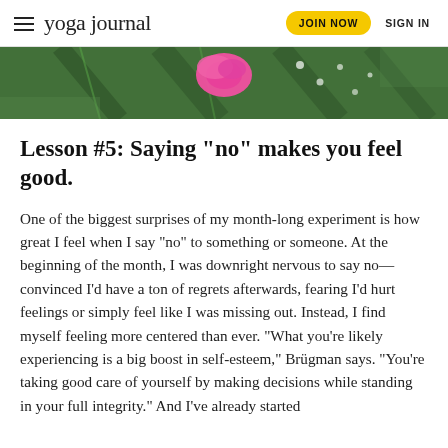yoga journal | JOIN NOW | SIGN IN
[Figure (photo): Close-up photo of a pink flower on green tropical leaves with water droplets]
Lesson #5: Saying “no” makes you feel good.
One of the biggest surprises of my month-long experiment is how great I feel when I say “no” to something or someone. At the beginning of the month, I was downright nervous to say no—convinced I’d have a ton of regrets afterwards, fearing I’d hurt feelings or simply feel like I was missing out. Instead, I find myself feeling more centered than ever. “What you’re likely experiencing is a big boost in self-esteem,” Brügman says. “You’re taking good care of yourself by making decisions while standing in your full integrity.” And I’ve already started